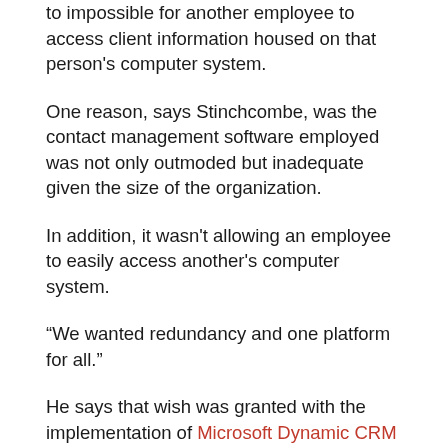to impossible for another employee to access client information housed on that person's computer system.
One reason, says Stinchcombe, was the contact management software employed was not only outmoded but inadequate given the size of the organization.
In addition, it wasn't allowing an employee to easily access another's computer system.
“We wanted redundancy and one platform for all.”
He says that wish was granted with the implementation of Microsoft Dynamic CRM Professional edition 18 months ago.
Althou...